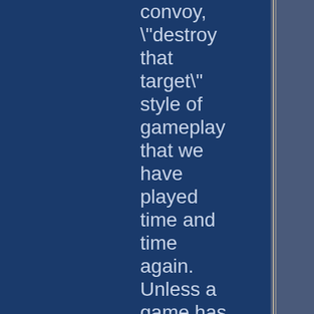convoy, "destroy that target" style of gameplay that we have played time and time again. Unless a game has some serious panache, this formula is pretty hard to pull off. Clone Wars does not. First of all, the Republic